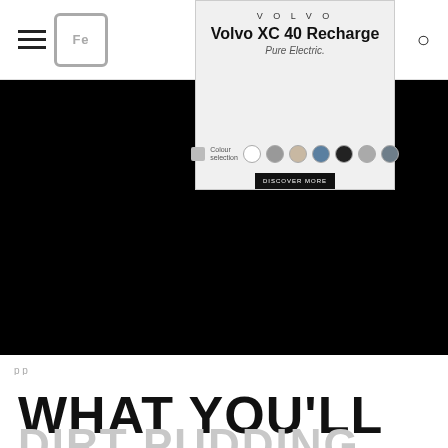Navigation header with hamburger menu, logo placeholder, and search icon
[Figure (screenshot): Volvo XC40 Recharge advertisement overlay showing brand name VOLVO, model name Volvo XC40 Recharge, tagline Pure Electric., and color selection swatches]
[Figure (photo): Large black banner area covering majority of upper page, showing a dark background with partial website content visible]
WHAT YOU'LL NEED TO MAKE
DIRT PUDDING